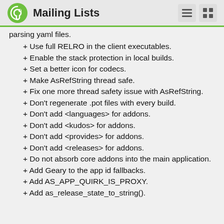Mailing Lists
parsing yaml files.
+ Use full RELRO in the client executables.
+ Enable the stack protection in local builds.
+ Set a better icon for codecs.
+ Make AsRefString thread safe.
+ Fix one more thread safety issue with AsRefString.
+ Don't regenerate .pot files with every build.
+ Don't add <languages> for addons.
+ Don't add <kudos> for addons.
+ Don't add <provides> for addons.
+ Don't add <releases> for addons.
+ Do not absorb core addons into the main application.
+ Add Geary to the app id fallbacks.
+ Add AS_APP_QUIRK_IS_PROXY.
+ Add as_release_state_to_string().